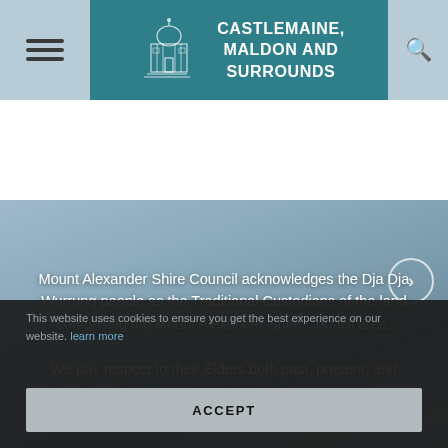CASTLEMAINE, MALDON AND SURROUNDS
[Figure (screenshot): Website screenshot of Castlemaine, Maldon and Surrounds tourism/council website. Header shows hamburger menu, building logo, site title, and search icon. Hero image shows an aerial misty view of a town/city. An arrow navigation button is visible. Acknowledgement of Country text overlays the image.]
Mount Alexander Shire Council acknowledges the Dja Dja Wurrung people as the Traditional Custodians of the land comprising the Mount Alexander Shire Council area. We pay respect to their Elders both past, present, and emerging.
This website uses cookies to ensure you get the best experience on our website. learn more
ACCEPT